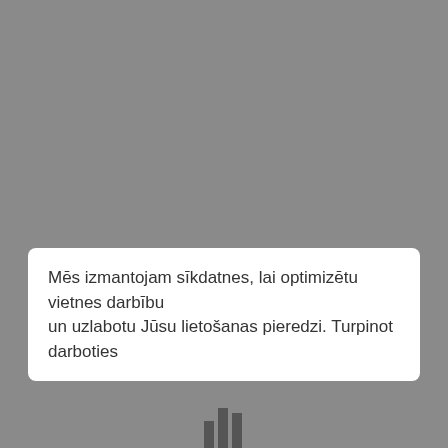Mēs izmantojam sīkdatnes, lai optimizētu vietnes darbību un uzlabotu Jūsu lietošanas pieredzi. Turpinot darboties
[Figure (other): Partial bar chart visible at the bottom of the page, partially cropped]